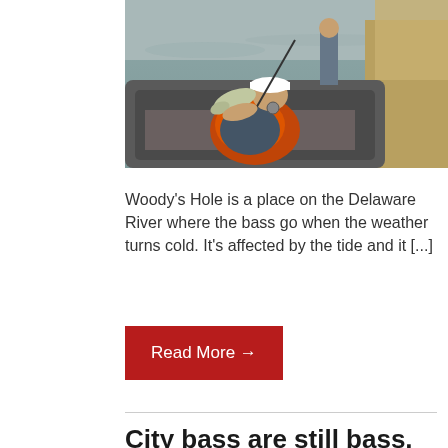[Figure (photo): A fisherman in a boat on a river holding up a large bass fish. The man is wearing an orange life vest and a cap. Another person stands in the background near tall reeds on the riverbank. The water appears grey-green and murky.]
Woody's Hole is a place on the Delaware River where the bass go when the weather turns cold. It's affected by the tide and it [...]
Read More →
City bass are still bass,